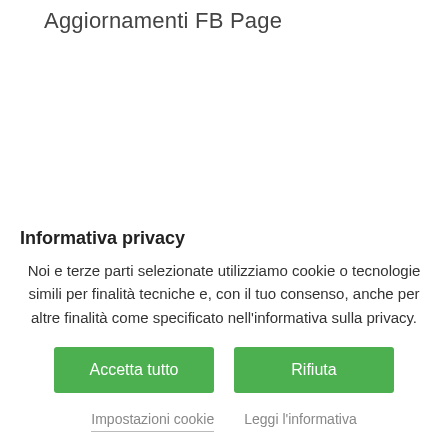Aggiornamenti FB Page
Informativa privacy
Noi e terze parti selezionate utilizziamo cookie o tecnologie simili per finalità tecniche e, con il tuo consenso, anche per altre finalità come specificato nell'informativa sulla privacy.
Accetta tutto
Rifiuta
Impostazioni cookie
Leggi l'informativa